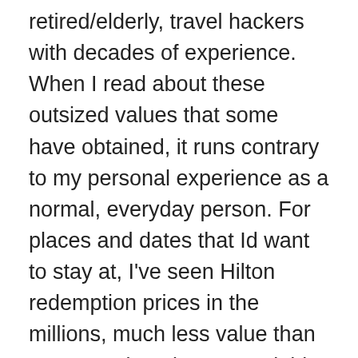retired/elderly, travel hackers with decades of experience. When I read about these outsized values that some have obtained, it runs contrary to my personal experience as a normal, everyday person. For places and dates that Id want to stay at, I've seen Hilton redemption prices in the millions, much less value than .04 per point. I just started this game this year and I'm already put off by it. I thought it would be a way to open up great experiences while saving money, but there's too much to learn to maximize point value, too much schedule flexibility needed to maximize point value and the wasted time and energy, not to mention disappointment when status doesn't even get anything more...